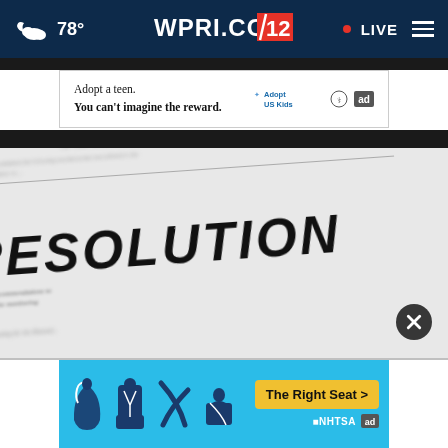WPRI.COM 12 | 78° | LIVE
[Figure (screenshot): WPRI.com news website navigation bar with weather (78°), WPRI.COM 12 logo, red LIVE indicator, and hamburger menu]
[Figure (photo): Advertisement banner: Adopt a teen. You can't imagine the reward. Adopt US Kids logo and ad badge]
[Figure (photo): Close-up black and white photograph of a government resolution document showing 'IN THE HOUSE OF REPRESENTATIVES' heading and large bold italic 'RESOLUTION' text]
[Figure (photo): Bottom advertisement banner in blue for NHTSA 'The Right Seat' car seat safety campaign with car seat icons and yellow button]